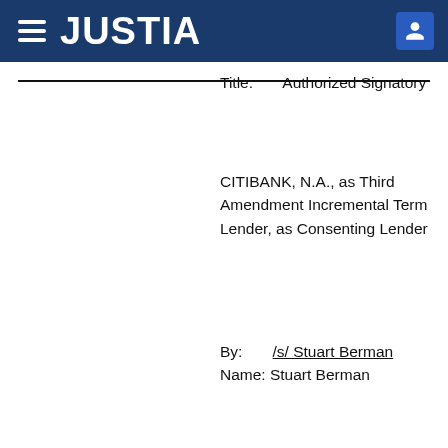JUSTIA
Title: Authorized Signatory
CITIBANK, N.A., as Third Amendment Incremental Term Lender, as Consenting Lender
By: /s/ Stuart Berman
Name: Stuart Berman